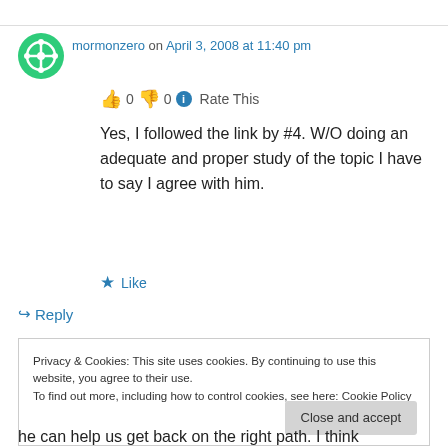mormonzero on April 3, 2008 at 11:40 pm
👍 0 👎 0 ℹ Rate This
Yes, I followed the link by #4. W/O doing an adequate and proper study of the topic I have to say I agree with him.
★ Like
↪ Reply
Privacy & Cookies: This site uses cookies. By continuing to use this website, you agree to their use.
To find out more, including how to control cookies, see here: Cookie Policy
Close and accept
he can help us get back on the right path. I think